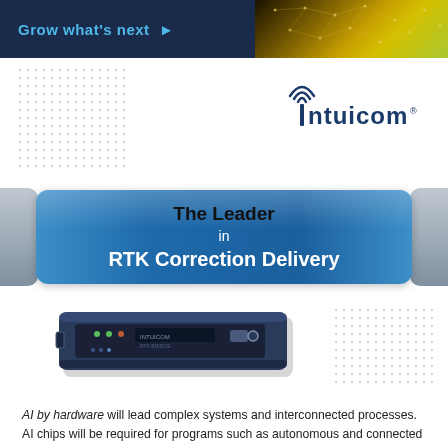[Figure (illustration): Top banner with dark navy left section reading 'Grow what's next ▶' in blue text, and right section with gold/green gradient network pattern]
[Figure (logo): Intuicom logo with wifi/antenna symbol above letter I, followed by 'ntuicom' with registered trademark symbol]
[Figure (illustration): Blue rounded banner reading 'The Leader in RTK Correction Delivery' with gray tabs on sides]
[Figure (photo): Hardware device photo showing a blue/black electronic unit with connectors and indicators]
AI by hardware will lead complex systems and interconnected processes. AI chips will be required for programs such as autonomous and connected systems, energy generation and distribution as well as health care and smart agriculture. Additionally, it will center on an 'algorithm-to-hardware co-design approach' which recognizes issues in algorithms, system architecture, circuits and devices.